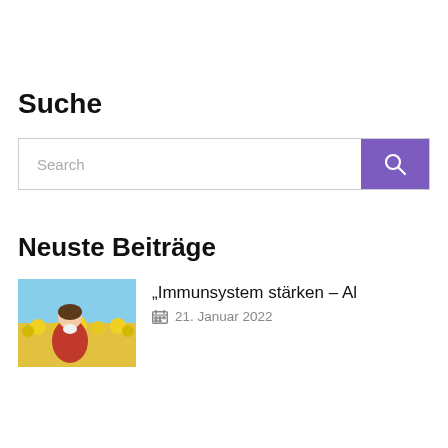Suche
[Figure (screenshot): Search bar with text placeholder 'Search' and purple search button with magnifying glass icon]
Neuste Beiträge
[Figure (photo): Thumbnail photo of a person sneezing in a yellow flower field]
„Immunsystem stärken – Al
21. Januar 2022